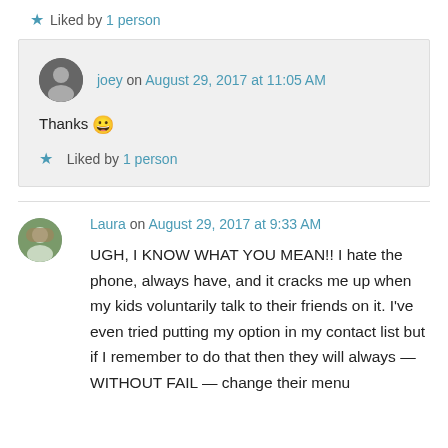★ Liked by 1 person
joey on August 29, 2017 at 11:05 AM
Thanks 😀
★ Liked by 1 person
Laura on August 29, 2017 at 9:33 AM
UGH, I KNOW WHAT YOU MEAN!! I hate the phone, always have, and it cracks me up when my kids voluntarily talk to their friends on it. I've even tried putting my option in my contact list but if I remember to do that then they will always — WITHOUT FAIL — change their menu